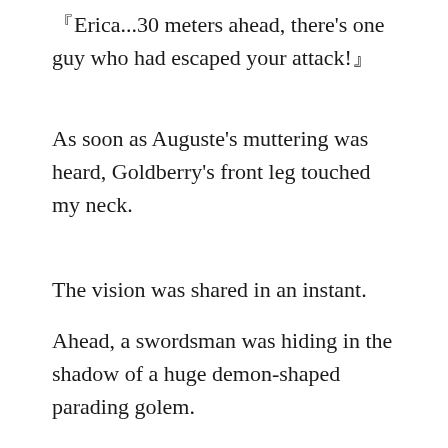『Erica...30 meters ahead, there’s one guy who had escaped your attack!』
As soon as Auguste’s muttering was heard, Goldberry’s front leg touched my neck.
The vision was shared in an instant.
Ahead, a swordsman was hiding in the shadow of a huge demon-shaped parading golem.
“Thank you, Auguste-sama, but for now, please concentrate on searching for Beatrice!”